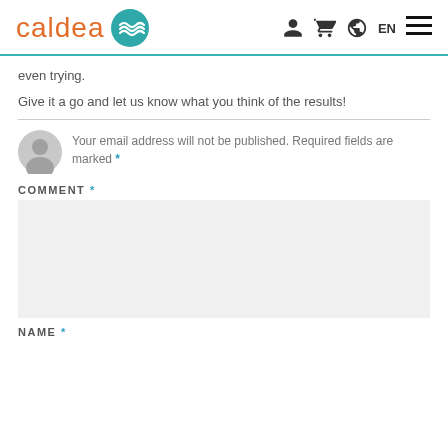caldea [logo] [user icon] [cart icon] [globe icon] EN [menu icon]
even trying.
Give it a go and let us know what you think of the results!
Your email address will not be published. Required fields are marked *
COMMENT *
NAME *